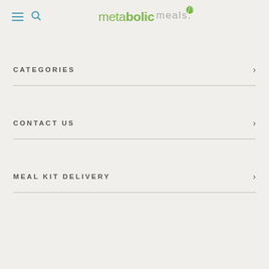metabolic meals
CATEGORIES
CONTACT US
MEAL KIT DELIVERY